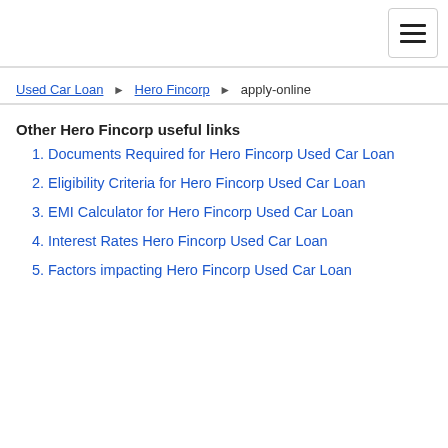☰ (menu button)
Used Car Loan ▶ Hero Fincorp ▶ apply-online
Other Hero Fincorp useful links
Documents Required for Hero Fincorp Used Car Loan
Eligibility Criteria for Hero Fincorp Used Car Loan
EMI Calculator for Hero Fincorp Used Car Loan
Interest Rates Hero Fincorp Used Car Loan
Factors impacting Hero Fincorp Used Car Loan